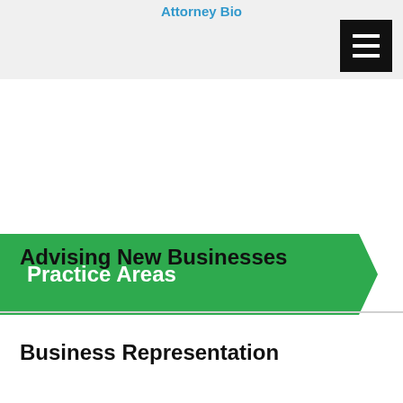Attorney Bio
Practice Areas
Advising New Businesses
Business Representation